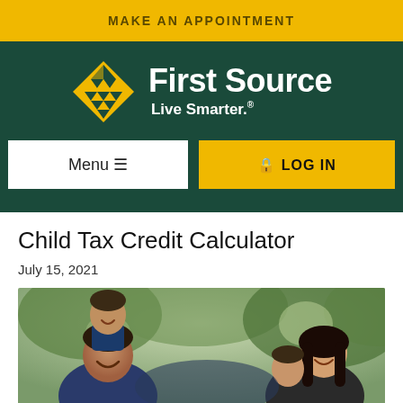MAKE AN APPOINTMENT
[Figure (logo): First Source Bank logo with gold diamond/triangle pattern and white text 'First Source' and tagline 'Live Smarter.' on dark green background, with Menu and LOG IN navigation buttons]
Child Tax Credit Calculator
July 15, 2021
[Figure (photo): A smiling family with a father lifting a young boy on his shoulders and a mother holding a younger child, outdoors with blurred trees in background]